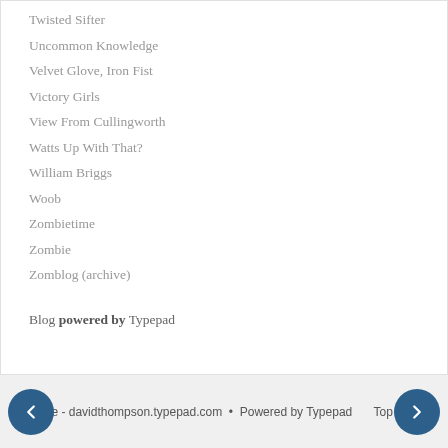Twisted Sifter
Uncommon Knowledge
Velvet Glove, Iron Fist
Victory Girls
View From Cullingworth
Watts Up With That?
William Briggs
Woob
Zombietime
Zombie
Zomblog (archive)
Blog powered by Typepad
Home - davidthompson.typepad.com • Powered by Typepad  Top